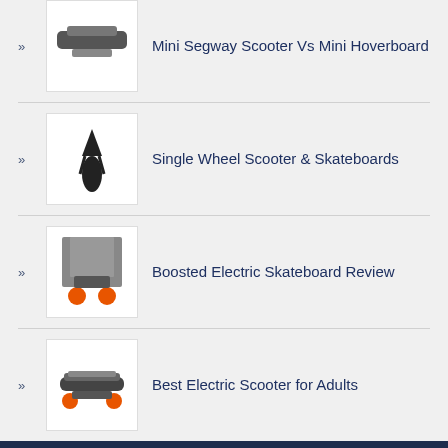Mini Segway Scooter Vs Mini Hoverboard
Single Wheel Scooter & Skateboards
Boosted Electric Skateboard Review
Best Electric Scooter for Adults
Privacy Policy | Contact Us
Copyright text 2021 by Scooter Smarter